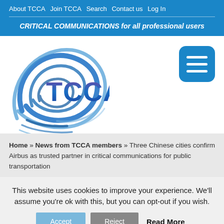About TCCA  Join TCCA  Search  Contact us  Log In
CRITICAL COMMUNICATIONS for all professional users
[Figure (logo): TCCA logo with swirl graphic and purple/blue TCCA text]
[Figure (other): Hamburger menu button (blue rounded square with three white bars)]
Home » News from TCCA members » Three Chinese cities confirm Airbus as trusted partner in critical communications for public transportation
This website uses cookies to improve your experience. We'll assume you're ok with this, but you can opt-out if you wish.
Accept  Reject  Read More